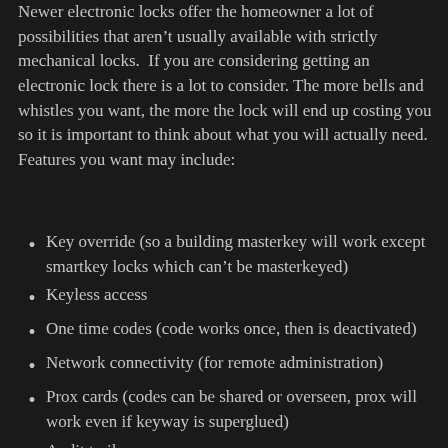Newer electronic locks offer the homeowner a lot of possibilities that aren't usually available with strictly mechanical locks.  If you are considering getting an electronic lock there is a lot to consider. The more bells and whistles you want, the more the lock will end up costing you so it is important to think about what you will actually need. Features you want may include:
Key override (so a building masterkey will work except smartkey locks which can't be masterkeyed)
Keyless access
One time codes (code works once, then is deactivated)
Network connectivity (for remote administration)
Prox cards (codes can be shared or overseen, prox will work even if keyway is superglued)
Audit trail